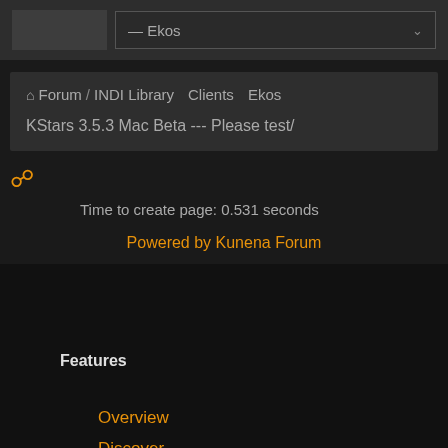[Figure (screenshot): Dropdown selector showing '— Ekos' option with dark background]
Forum / INDI Library Clients Ekos KStars 3.5.3 Mac Beta --- Please test/
Time to create page: 0.531 seconds
Powered by Kunena Forum
Features
Overview
Discover